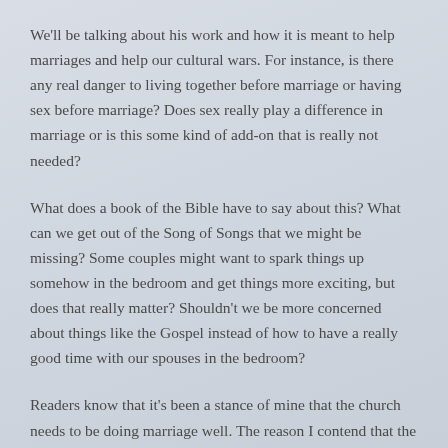We'll be talking about his work and how it is meant to help marriages and help our cultural wars. For instance, is there any real danger to living together before marriage or having sex before marriage? Does sex really play a difference in marriage or is this some kind of add-on that is really not needed?
What does a book of the Bible have to say about this? What can we get out of the Song of Songs that we might be missing? Some couples might want to spark things up somehow in the bedroom and get things more exciting, but does that really matter? Shouldn't we be more concerned about things like the Gospel instead of how to have a really good time with our spouses in the bedroom?
Readers know that it's been a stance of mine that the church needs to be doing marriage well. The reason I contend that the world is not treating marriage like it's sacred is that the church did it first. I try to read many books on the topics of sex and